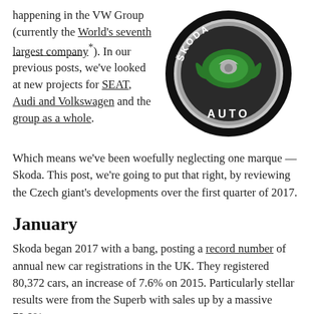happening in the VW Group (currently the World's seventh largest company*). In our previous posts, we've looked at new projects for SEAT, Audi and Volkswagen and the group as a whole.
[Figure (logo): Skoda Auto circular logo — black ring with green winged arrow emblem on chrome/silver background, white text 'ŠKODA AUTO' at bottom]
Which means we've been woefully neglecting one marque — Skoda. This post, we're going to put that right, by reviewing the Czech giant's developments over the first quarter of 2017.
January
Skoda began 2017 with a bang, posting a record number of annual new car registrations in the UK. They registered 80,372 cars, an increase of 7.6% on 2015. Particularly stellar results were from the Superb with sales up by a massive 79.9%